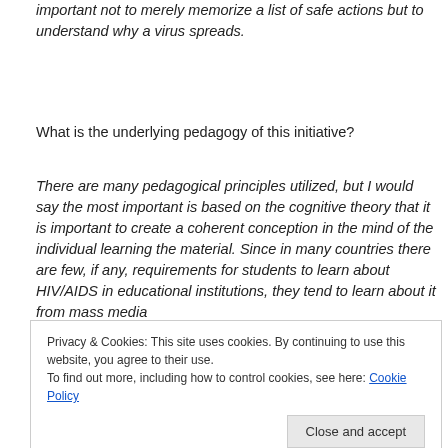important not to merely memorize a list of safe actions but to understand why a virus spreads.
What is the underlying pedagogy of this initiative?
There are many pedagogical principles utilized, but I would say the most important is based on the cognitive theory that it is important to create a coherent conception in the mind of the individual learning the material. Since in many countries there are few, if any, requirements for students to learn about HIV/AIDS in educational institutions, they tend to learn about it from mass media
Privacy & Cookies: This site uses cookies. By continuing to use this website, you agree to their use.
To find out more, including how to control cookies, see here: Cookie Policy
individuals must make sense of short, out-of-context